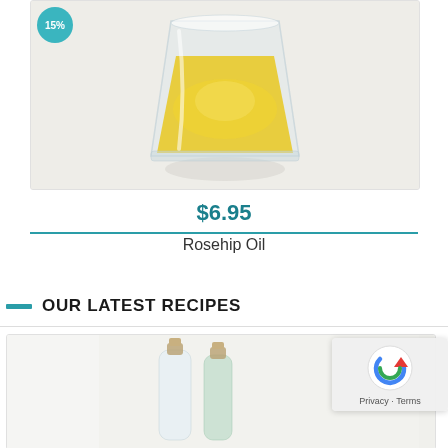[Figure (photo): Product photo of rosehip oil in a glass cup on a white/light background, with a teal circular badge showing '15%' in the top left corner]
$6.95
Rosehip Oil
OUR LATEST RECIPES
[Figure (photo): Partial image of glass bottles with cork stoppers on a light background, partly obscured by reCAPTCHA widget]